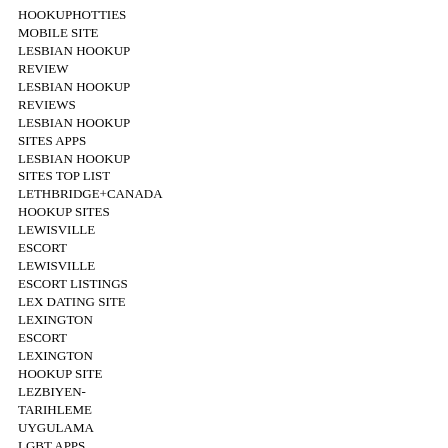HOOKUPHOTTIES
MOBILE SITE
LESBIAN HOOKUP
REVIEW
LESBIAN HOOKUP
REVIEWS
LESBIAN HOOKUP
SITES APPS
LESBIAN HOOKUP
SITES TOP LIST
LETHBRIDGE+CANADA
HOOKUP SITES
LEWISVILLE
ESCORT
LEWISVILLE
ESCORT LISTINGS
LEX DATING SITE
LEXINGTON
ESCORT
LEXINGTON
HOOKUP SITE
LEZBIYEN-TARIHLEME
UYGULAMA
LGBT APPS
LGBT CS
PRIKLADY
PROFILU
LGBT SITIOS
GRATIS
LGBT USERNAME